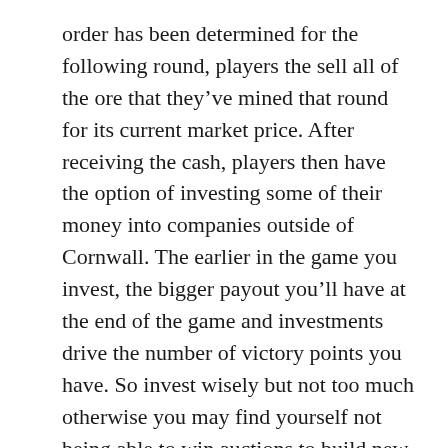order has been determined for the following round, players the sell all of the ore that they've mined that round for its current market price. After receiving the cash, players then have the option of investing some of their money into companies outside of Cornwall. The earlier in the game you invest, the bigger payout you'll have at the end of the game and investments drive the number of victory points you have. So invest wisely but not too much otherwise you may find yourself not being able to win auctions to build new mines where you want and not being able to pay for extracting the ore you need to ear money from the market.